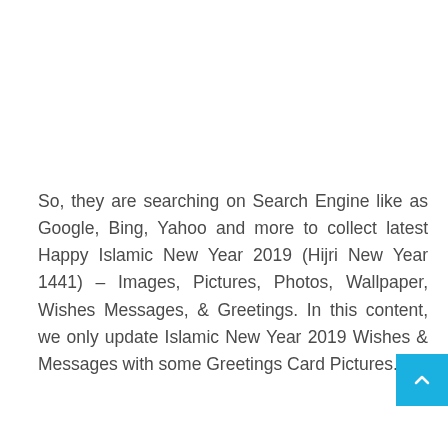So, they are searching on Search Engine like as Google, Bing, Yahoo and more to collect latest Happy Islamic New Year 2019 (Hijri New Year 1441) – Images, Pictures, Photos, Wallpaper, Wishes Messages, & Greetings. In this content, we only update Islamic New Year 2019 Wishes & Messages with some Greetings Card Pictures.